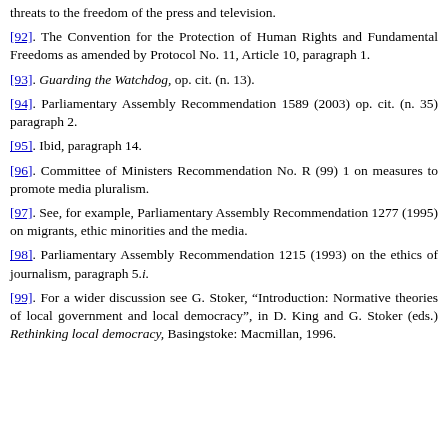threats to the freedom of the press and television.
[92]. The Convention for the Protection of Human Rights and Fundamental Freedoms as amended by Protocol No. 11, Article 10, paragraph 1.
[93]. Guarding the Watchdog, op. cit. (n. 13).
[94]. Parliamentary Assembly Recommendation 1589 (2003) op. cit. (n. 35) paragraph 2.
[95]. Ibid, paragraph 14.
[96]. Committee of Ministers Recommendation No. R (99) 1 on measures to promote media pluralism.
[97]. See, for example, Parliamentary Assembly Recommendation 1277 (1995) on migrants, ethic minorities and the media.
[98]. Parliamentary Assembly Recommendation 1215 (1993) on the ethics of journalism, paragraph 5.i.
[99]. For a wider discussion see G. Stoker, “Introduction: Normative theories of local government and local democracy”, in D. King and G. Stoker (eds.) Rethinking local democracy, Basingstoke: Macmillan, 1996.